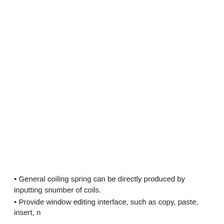General coiling spring can be directly produced by inputting spring wire diameter, coil diameter, and number of coils.
Provide window editing interface, such as copy, paste, insert, n... and other attributes flexible...